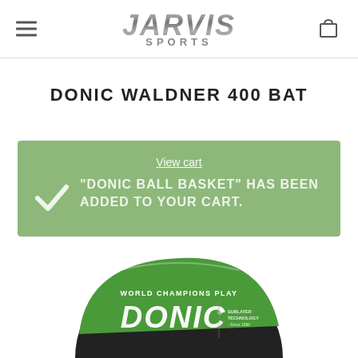JARVIS SPORTS
DONIC WALDNER 400 BAT
View cart
"DONIC BALL BASKET" HAS BEEN ADDED TO YOUR CART.
[Figure (photo): Donic table tennis bat/product badge showing 'WORLD CHAMPIONS PLAY DONIC' with green and black circular design, partially visible at bottom of page]